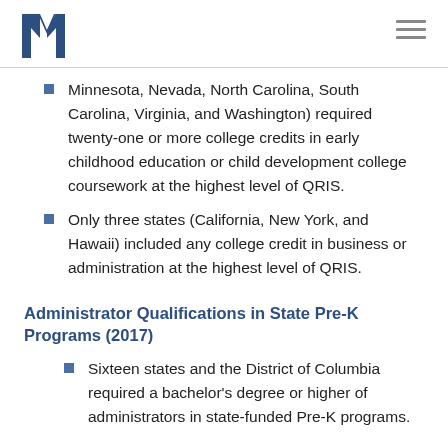M logo and hamburger menu
Minnesota, Nevada, North Carolina, South Carolina, Virginia, and Washington) required twenty-one or more college credits in early childhood education or child development college coursework at the highest level of QRIS.
Only three states (California, New York, and Hawaii) included any college credit in business or administration at the highest level of QRIS.
Administrator Qualifications in State Pre-K Programs (2017)
Sixteen states and the District of Columbia required a bachelor's degree or higher of administrators in state-funded Pre-K programs.